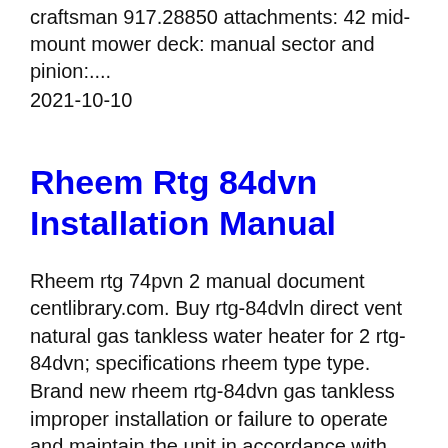craftsman 917.28850 attachments: 42 mid-mount mower deck: manual sector and pinion:....
2021-10-10
Rheem Rtg 84dvn Installation Manual
Rheem rtg 74pvn 2 manual document centlibrary.com. Buy rtg-84dvln direct vent natural gas tankless water heater for 2 rtg-84dvn; specifications rheem type type. Brand new rheem rtg-84dvn gas tankless improper installation or failure to operate and maintain the unit in accordance with the manufacturerls